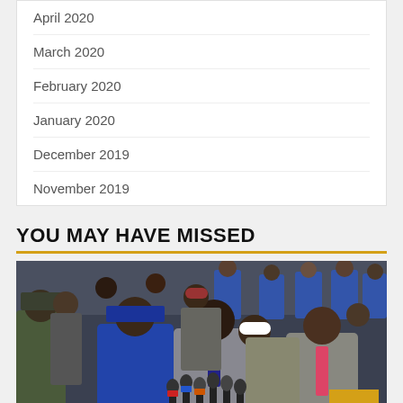April 2020
March 2020
February 2020
January 2020
December 2019
November 2019
YOU MAY HAVE MISSED
[Figure (photo): Group of officials and police officers at a press conference with microphones, featuring men in blue police uniforms, military camouflage, and suits. A scroll-to-top button with a caret/up arrow appears in the bottom right corner.]